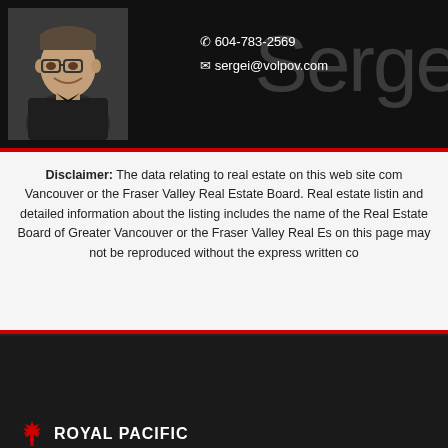[Figure (photo): Agent headshot photo - man with glasses smiling, dark shirt, against dark background]
604-783-2569
sergei@volpov.com
Serge
Disclaimer: The data relating to real estate on this web site com Vancouver or the Fraser Valley Real Estate Board. Real estate listin and detailed information about the listing includes the name of the Real Estate Board of Greater Vancouver or the Fraser Valley Real Es on this page may not be reproduced without the express written co
Royal Pacific Riverside Realty Ltd.
#102 - 7080 River Road, Richmond, BC V6X 1X5
604-270-8831
[Figure (logo): Royal Pacific logo with maple leaf and ROYAL PACIFIC text]
Disclaimer
Listing data is based in whole part on data generated by the Real Estate Board of Greater Vancouver and Fraser Valley Real Estate Board which assumes no responsibility for its accuracy.